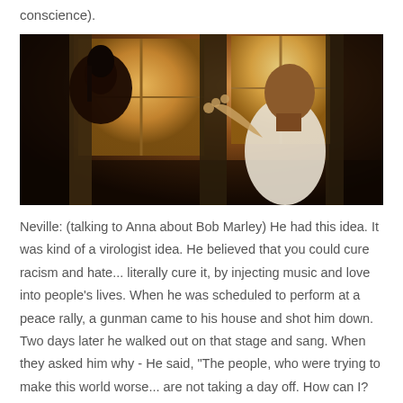conscience).
[Figure (photo): Two people in a dimly lit room with warm light from a window. A bald man in a white long-sleeve shirt gestures with his hand toward a woman seen from behind.]
Neville: (talking to Anna about Bob Marley) He had this idea. It was kind of a virologist idea. He believed that you could cure racism and hate... literally cure it, by injecting music and love into people's lives. When he was scheduled to perform at a peace rally, a gunman came to his house and shot him down. Two days later he walked out on that stage and sang. When they asked him why - He said, "The people, who were trying to make this world worse... are not taking a day off. How can I? Light up the darkness."